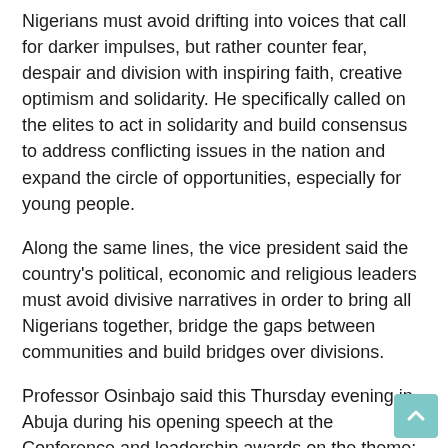Nigerians must avoid drifting into voices that call for darker impulses, but rather counter fear, despair and division with inspiring faith, creative optimism and solidarity. He specifically called on the elites to act in solidarity and build consensus to address conflicting issues in the nation and expand the circle of opportunities, especially for young people.
Along the same lines, the vice president said the country's political, economic and religious leaders must avoid divisive narratives in order to bring all Nigerians together, bridge the gaps between communities and build bridges over divisions.
Professor Osinbajo said this Thursday evening in Abuja during his opening speech at the Conference and leadership awards on the theme: National and regional insecurity: the role of political and non-political actors in stabilization and construction consensus. Sultan of Sokoto, Muhammadu Sa'ad Abubakar, presided over the event attended by some state governors and members of the Federal Executive Council, including the Secretary of the Federation Government, Patron Mustapha, and